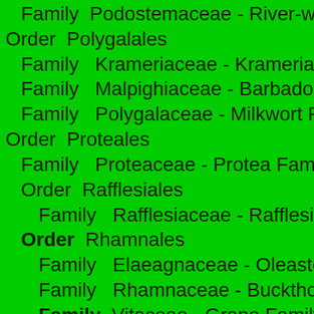Family  Podostemaceae - River-we…
Order  Polygalales
Family  Krameriaceae - Krameria F…
Family  Malpighiaceae - Barbados …
Family  Polygalaceae - Milkwort Fa…
Order  Proteales
Family  Proteaceae - Protea Family
Order  Rafflesiales
Family  Rafflesiaceae - Rafflesia Fa…
Order  Rhamnales
Family  Elaeagnaceae - Oleaster F…
Family  Rhamnaceae - Buckthorn F…
Family  Vitaceae - Grape Family
Genus  Cissus
Species  opaca
Species  rotundifolia